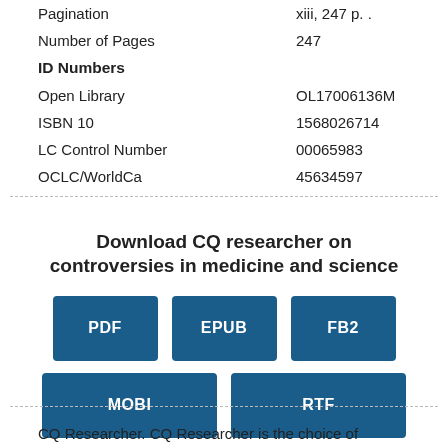| Pagination | xiii, 247 p. . |
| Number of Pages | 247 |
| ID Numbers |  |
| Open Library | OL17006136M |
| ISBN 10 | 1568026714 |
| LC Control Number | 00065983 |
| OCLC/WorldCa | 45634597 |
Download CQ researcher on controversies in medicine and science
[Figure (infographic): Five download buttons: PDF, EPUB, FB2, MOBI, RTF on blue backgrounds]
CQ Researcher. CQ Researcher is the choice of